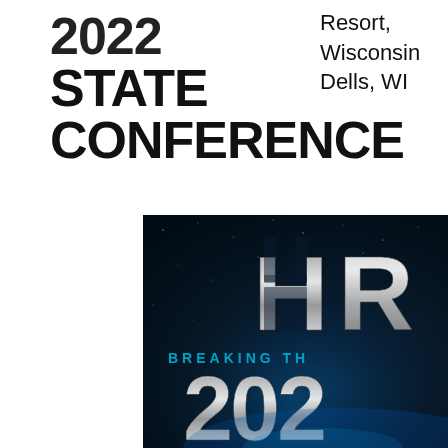STATE CONFERENCE
Resort, Wisconsin Dells, WI
[Figure (illustration): Dark blue/navy background with large silver metallic letters 'HR' partially visible on right, text 'BREAKING TH' in cyan/blue below the letters, and large silver '202' numerals at the bottom. Appears to be conference branding/logo imagery for an HR state conference event.]